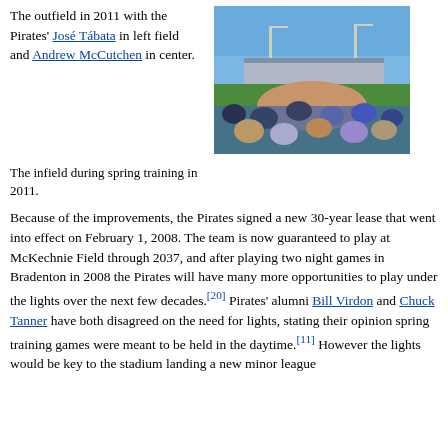The outfield in 2011 with the Pirates' José Tábata in left field and Andrew McCutchen in center.
[Figure (photo): Baseball stadium during spring training 2011, showing the infield with crowd in foreground and bleachers in background under blue sky]
The infield during spring training in 2011.
Because of the improvements, the Pirates signed a new 30-year lease that went into effect on February 1, 2008. The team is now guaranteed to play at McKechnie Field through 2037, and after playing two night games in Bradenton in 2008 the Pirates will have many more opportunities to play under the lights over the next few decades.[20] Pirates' alumni Bill Virdon and Chuck Tanner have both disagreed on the need for lights, stating their opinion spring training games were meant to be held in the daytime.[11] However the lights would be key to the stadium landing a new minor league